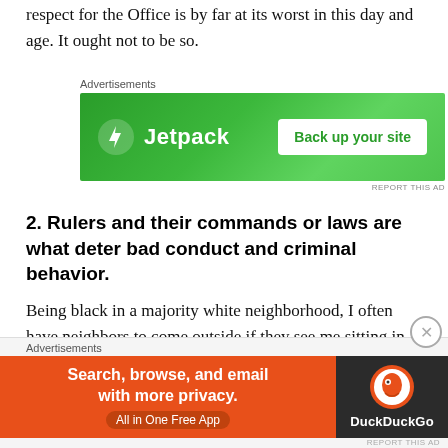respect for the Office is by far at its worst in this day and age. It ought not to be so.
[Figure (other): Jetpack advertisement banner: green background with Jetpack logo and 'Back up your site' button]
2. Rulers and their commands or laws are what deter bad conduct and criminal behavior.
Being black in a majority white neighborhood, I often have neighbors to come outside if they see me sitting in my car or when I drive over to the laundry facility and stay outside to clean my car. All of a sudden, everyone seems to want to come outside and walk their dogs or
[Figure (other): DuckDuckGo advertisement banner: orange and dark background with 'Search, browse, and email with more privacy. All in One Free App' text and DuckDuckGo logo]